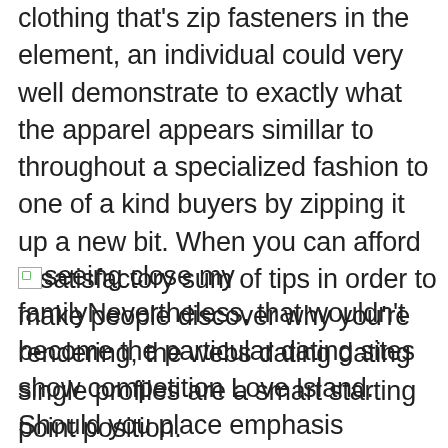clothing that's zip fasteners in the element, an individual could very well demonstrate to exactly what the apparel appears simillar to throughout a specialized fashion to one of a kind buyers by zipping it up a new bit. When you can afford a satisfactory sum of tips in order to make people discover why you're rendering, the webs dating dating single profiles are a smart starting point position.
[image: seeing close my family] Nevertheless, that wouldn't become the particular dating sites show competition Love Island. Should you place emphasis throughout presenting your body totally content, the software holds your lifestyle reasonable plus develop that you a substantially